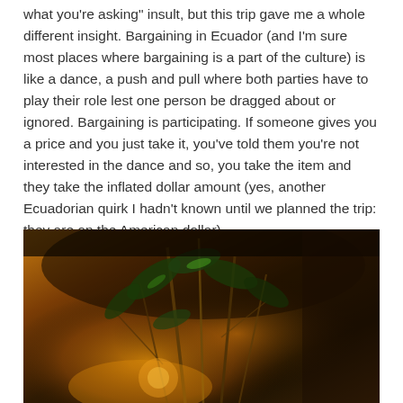what you're asking" insult, but this trip gave me a whole different insight. Bargaining in Ecuador (and I'm sure most places where bargaining is a part of the culture) is like a dance, a push and pull where both parties have to play their role lest one person be dragged about or ignored. Bargaining is participating. If someone gives you a price and you just take it, you've told them you're not interested in the dance and so, you take the item and they take the inflated dollar amount (yes, another Ecuadorian quirk I hadn't known until we planned the trip: they are on the American dollar).
[Figure (photo): A warm-toned photograph with golden and amber lighting showing tropical plants, leaves, and foliage in a dark setting with rich orange and green hues.]